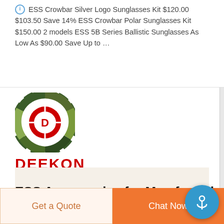ESS Crowbar Silver Logo Sunglasses Kit $120.00 $103.50 Save 14% ESS Crowbar Polar Sunglasses Kit $150.00 2 models ESS 5B Series Ballistic Sunglasses As Low As $90.00 Save Up to ...
[Figure (logo): DEEKON brand logo with camouflage circular target icon and red bold DEEKON text below]
[Figure (photo): Tan/coyote colored military bivy tent or one-person shelter laid flat, showing olive drab accents and zipper opening]
ESS Accessories for Men for sale | eBay
Get a Quote
Chat Now